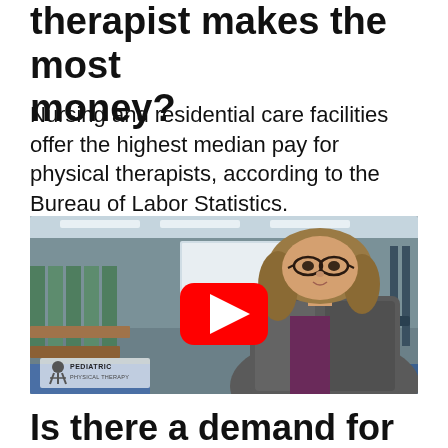therapist makes the most money?
Nursing and residential care facilities offer the highest median pay for physical therapists, according to the Bureau of Labor Statistics.
[Figure (screenshot): A YouTube video thumbnail showing a woman with glasses and shoulder-length blonde hair wearing a grey tweed blazer, sitting in a physical therapy room. A red YouTube play button is overlaid in the center. A 'Pediatric Physical Therapy' logo watermark appears in the lower left corner.]
Is there a demand for